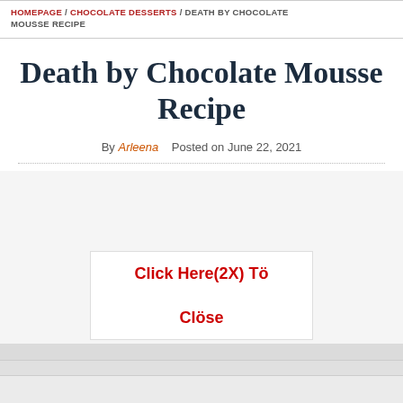HOMEPAGE / CHOCOLATE DESSERTS / DEATH BY CHOCOLATE MOUSSE RECIPE
Death by Chocolate Mousse Recipe
By Arleena   Posted on June 22, 2021
[Figure (photo): Image placeholder area for recipe photo]
Click Here(2X) Tö Clöse